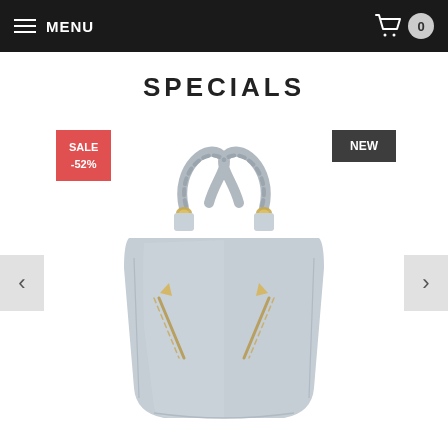MENU  [cart] 0
SPECIALS
[Figure (photo): Grey leather handbag with twisted rope shoulder handle and gold zipper accents, shown on white background. SALE -52% badge in red top left, NEW badge in dark grey top right. Left and right carousel navigation arrows.]